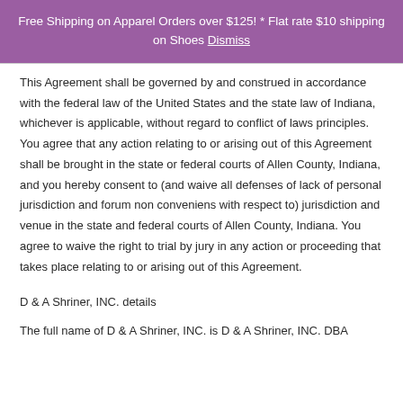Free Shipping on Apparel Orders over $125! * Flat rate $10 shipping on Shoes Dismiss
This Agreement shall be governed by and construed in accordance with the federal law of the United States and the state law of Indiana, whichever is applicable, without regard to conflict of laws principles. You agree that any action relating to or arising out of this Agreement shall be brought in the state or federal courts of Allen County, Indiana, and you hereby consent to (and waive all defenses of lack of personal jurisdiction and forum non conveniens with respect to) jurisdiction and venue in the state and federal courts of Allen County, Indiana. You agree to waive the right to trial by jury in any action or proceeding that takes place relating to or arising out of this Agreement.
D & A Shriner, INC. details
The full name of D & A Shriner, INC. is D & A Shriner, INC. DBA